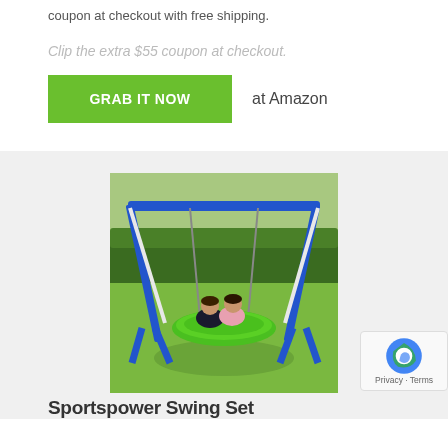coupon at checkout with free shipping.
Clip the extra $55 coupon at checkout.
GRAB IT NOW   at Amazon
[Figure (photo): A metal swing set with blue frame and green saucer swing with two children sitting in it on a grassy lawn with hedges in the background]
Sportspower Swing Set